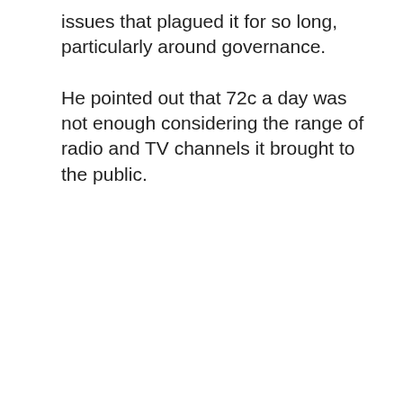issues that plagued it for so long, particularly around governance.
He pointed out that 72c a day was not enough considering the range of radio and TV channels it brought to the public.